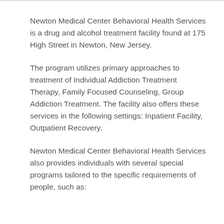Newton Medical Center Behavioral Health Services is a drug and alcohol treatment facility found at 175 High Street in Newton, New Jersey.
The program utilizes primary approaches to treatment of Individual Addiction Treatment Therapy, Family Focused Counseling, Group Addiction Treatment. The facility also offers these services in the following settings: Inpatient Facility, Outpatient Recovery.
Newton Medical Center Behavioral Health Services also provides individuals with several special programs tailored to the specific requirements of people, such as: